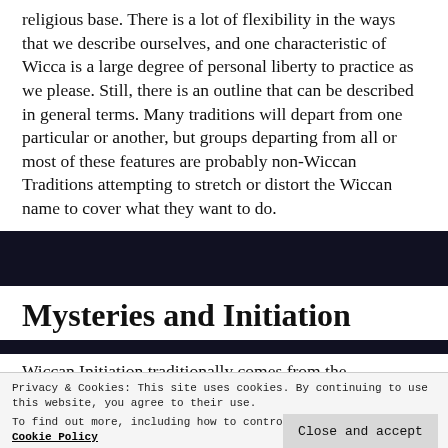religious base. There is a lot of flexibility in the ways that we describe ourselves, and one characteristic of Wicca is a large degree of personal liberty to practice as we please. Still, there is an outline that can be described in general terms. Many traditions will depart from one particular or another, but groups departing from all or most of these features are probably non-Wiccan Traditions attempting to stretch or distort the Wiccan name to cover what they want to do.
Mysteries and Initiation
Wiccan Initiation traditionally comes from the...
Privacy & Cookies: This site uses cookies. By continuing to use this website, you agree to their use.
To find out more, including how to control cookies, see here: Cookie Policy
Close and accept
Mystery Religion is a religion of personal experience...